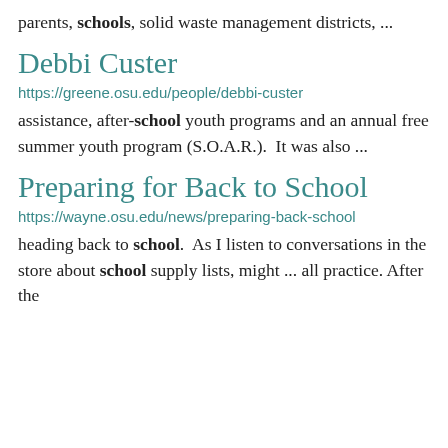parents, schools, solid waste management districts, ...
Debbi Custer
https://greene.osu.edu/people/debbi-custer
assistance, after-school youth programs and an annual free summer youth program (S.O.A.R.).  It was also ...
Preparing for Back to School
https://wayne.osu.edu/news/preparing-back-school
heading back to school.  As I listen to conversations in the store about school supply lists, might ... all practice. After the